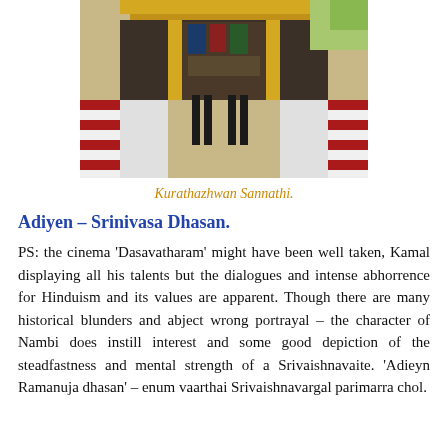[Figure (photo): Photo of Kurathazhwan Sannathi, a Hindu temple shrine/sanctum with golden pillars, decorative elements, red and white striped structures, and deity images.]
Kurathazhwan Sannathi.
Adiyen – Srinivasa Dhasan.
PS: the cinema 'Dasavatharam' might have been well taken, Kamal displaying all his talents but the dialogues and intense abhorrence for Hinduism and its values are apparent. Though there are many historical blunders and abject wrong portrayal – the character of Nambi does instill interest and some good depiction of the steadfastness and mental strength of a Srivaishnavaite. 'Adieyn Ramanuja dhasan' – enum vaarthai Srivaishnavargal parimarra chol.